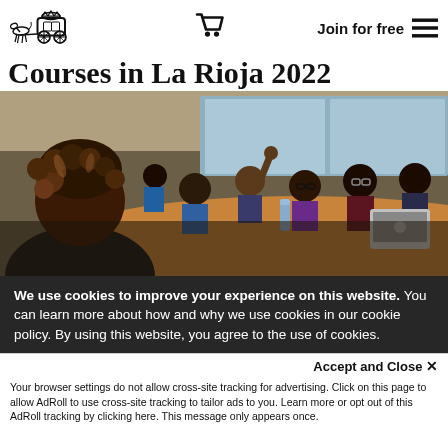Courses in La Rioja 2022 — site header with logo, cart, Join for free, hamburger menu
Courses in La Rioja 2022
[Figure (photo): A classroom or conference room scene with a presenter (foreground, back to camera, curly hair) facing seated attendees around a table. Several people of diverse backgrounds, one person raising hand. Laptops and water bottles on table.]
We use cookies to improve your experience on this website. You can learn more about how and why we use cookies in our cookie policy. By using this website, you agree to the use of cookies.
Accept and Close ✕
Your browser settings do not allow cross-site tracking for advertising. Click on this page to allow AdRoll to use cross-site tracking to tailor ads to you. Learn more or opt out of this AdRoll tracking by clicking here. This message only appears once.